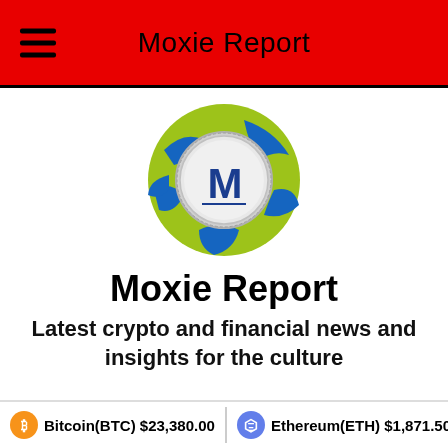Moxie Report
[Figure (logo): Moxie Report logo: globe with a silver coin bearing a stylized M letter in the center]
Moxie Report
Latest crypto and financial news and insights for the culture
Bitcoin(BTC) $23,380.00   Ethereum(ETH) $1,871.50   XRP